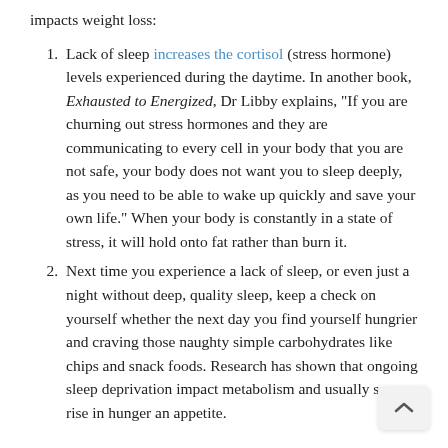impacts weight loss:
Lack of sleep increases the cortisol (stress hormone) levels experienced during the daytime. In another book, Exhausted to Energized, Dr Libby explains, “If you are churning out stress hormones and they are communicating to every cell in your body that you are not safe, your body does not want you to sleep deeply, as you need to be able to wake up quickly and save your own life.” When your body is constantly in a state of stress, it will hold onto fat rather than burn it.
Next time you experience a lack of sleep, or even just a night without deep, quality sleep, keep a check on yourself whether the next day you find yourself hungrier and craving those naughty simple carbohydrates like chips and snack foods. Research has shown that ongoing sleep deprivation impacts metabolism and usually sees a rise in hunger and appetite.